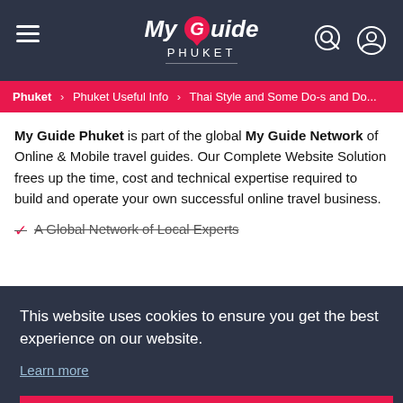My Guide Phuket — navigation header with hamburger menu, logo, search and account icons
Phuket > Phuket Useful Info > Thai Style and Some Do-s and Do...
My Guide Phuket is part of the global My Guide Network of Online & Mobile travel guides. Our Complete Website Solution frees up the time, cost and technical expertise required to build and operate your own successful online travel business.
A Global Network of Local Experts
This website uses cookies to ensure you get the best experience on our website.
Learn more
Got it!
Privacy Policy  Terms & Conditions